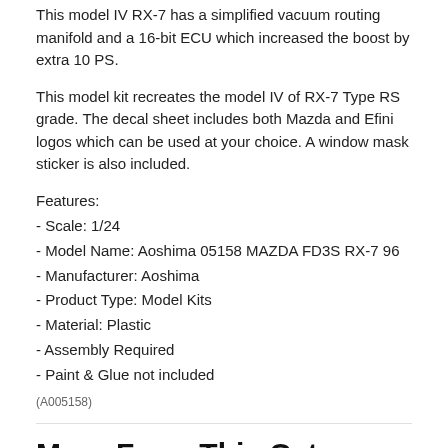This model IV RX-7 has a simplified vacuum routing manifold and a 16-bit ECU which increased the boost by extra 10 PS.
This model kit recreates the model IV of RX-7 Type RS grade. The decal sheet includes both Mazda and Efini logos which can be used at your choice. A window mask sticker is also included.
Features:
- Scale: 1/24
- Model Name: Aoshima 05158 MAZDA FD3S RX-7 96
- Manufacturer: Aoshima
- Product Type: Model Kits
- Material: Plastic
- Assembly Required
- Paint & Glue not included
(A005158)
More From This Category
1/32 TOYOTA C-HR
1/24 PAGANI Zonda